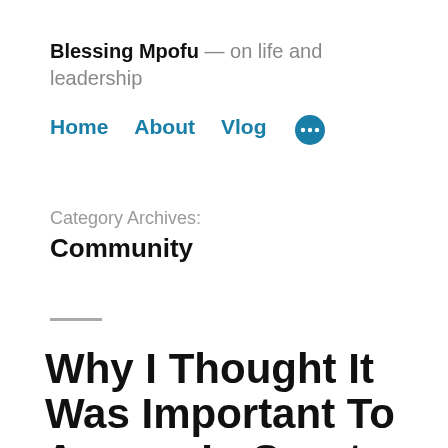Blessing Mpofu — on life and leadership
Home  About  Vlog  •••
Category Archives:
Community
Why I Thought It Was Important To Appear In Court